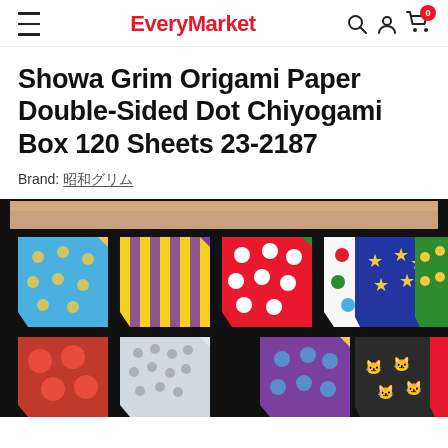EveryMarket
Showa Grim Origami Paper Double-Sided Dot Chiyogami Box 120 Sheets 23-2187
Brand: 昭和グリム
[Figure (photo): Product photo of a box of Showa Grim origami paper showing colorful double-sided dot chiyogami sheets arranged in a grid on a dark background. Sheets feature various patterns: blue with gold dots, yellow stripes with purple, red with white dots, white with colorful dots, dark blue with yellow stars, green with yellow dots, red with strawberries, and more.]